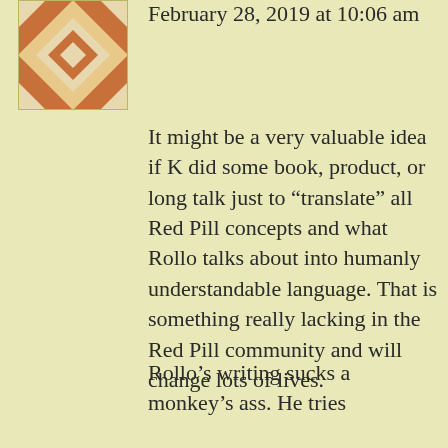[Figure (illustration): Geometric quilt-pattern avatar in orange and tan/white colors]
February 28, 2019 at 10:06 am
It might be a very valuable idea if K did some book, product, or long talk just to “translate” all Red Pill concepts and what Rollo talks about into humanly understandable language. That is something really lacking in the Red Pill community and will change lots of lives.
Rollo’s writing sucks a monkey’s ass. He tries